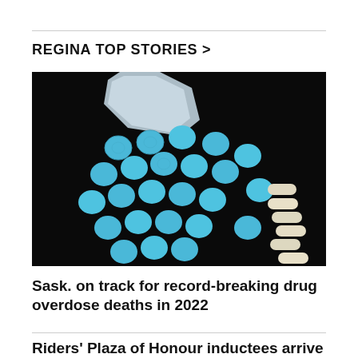REGINA TOP STORIES >
[Figure (photo): Blue round pills spilling out of a clear plastic bag, with white capsules on the right side, on a dark black background.]
Sask. on track for record-breaking drug overdose deaths in 2022
Riders' Plaza of Honour inductees arrive for Friday's special halftime ceremony